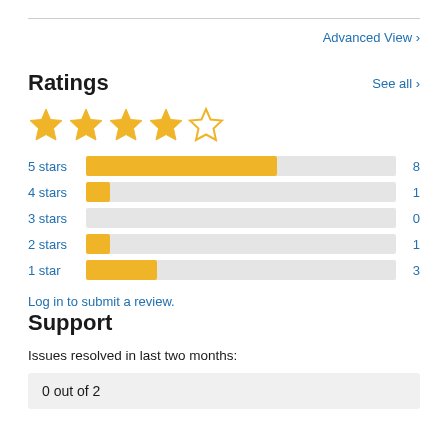Advanced View
Ratings
See all >
[Figure (other): 4 out of 5 stars rating shown with star icons]
[Figure (bar-chart): Ratings distribution]
Log in to submit a review.
Support
Issues resolved in last two months:
0 out of 2